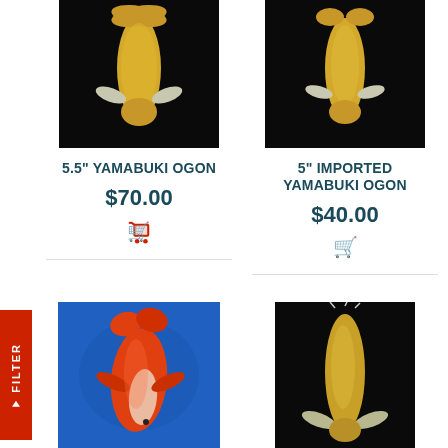[Figure (photo): Top-down view of a yellow/golden koi fish on black background - 5.5 inch Yamabuki Ogon]
[Figure (photo): Top-down view of a yellow/golden koi fish on black background - 5 inch Imported Yamabuki Ogon]
5.5" YAMABUKI OGON
$70.00
5" IMPORTED YAMABUKI OGON
$40.00
[Figure (photo): Top-down view of an orange and white koi fish on blue background]
[Figure (photo): Top-down view of a yellow/golden koi fish on black background]